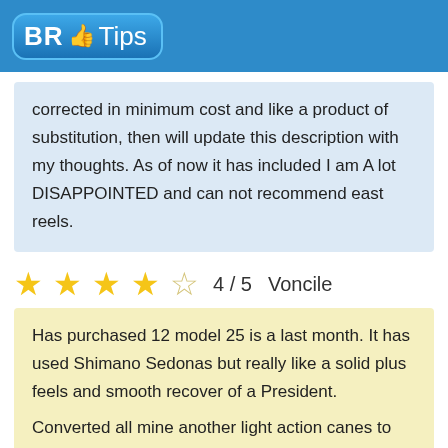BR Tips
corrected in minimum cost and like a product of substitution, then will update this description with my thoughts. As of now it has included I am A lot DISAPPOINTED and can not recommend east reels.
4 / 5  Voncile
Has purchased 12 model 25 is a last month. It has used Shimano Sedonas but really like a solid plus feels and smooth recover of a President. Converted all mine another light action canes to